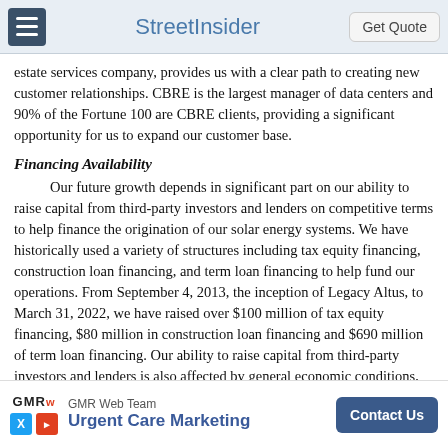StreetInsider | Get Quote
estate services company, provides us with a clear path to creating new customer relationships. CBRE is the largest manager of data centers and 90% of the Fortune 100 are CBRE clients, providing a significant opportunity for us to expand our customer base.
Financing Availability
Our future growth depends in significant part on our ability to raise capital from third-party investors and lenders on competitive terms to help finance the origination of our solar energy systems. We have historically used a variety of structures including tax equity financing, construction loan financing, and term loan financing to help fund our operations. From September 4, 2013, the inception of Legacy Altus, to March 31, 2022, we have raised over $100 million of tax equity financing, $80 million in construction loan financing and $690 million of term loan financing. Our ability to raise capital from third-party investors and lenders is also affected by general economic conditions, the state of the capital markets, inflation levels and lenders' concerns about our industry or business.
Cost of Solar Energy Systems
Although the solar panel market has seen an increase in supply in the past few years, most recently there has been upward pressure on prices due to lingering i... growth in the sola... an increase